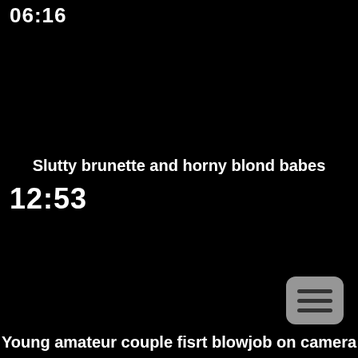06:16
Slutty brunette and horny blond babes
12:53
[Figure (other): Menu button icon with three horizontal lines, rounded rectangle, gray background]
Young amateur couple fisrt blowjob on camera